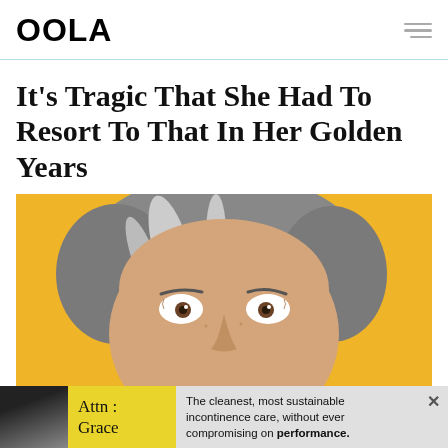OOLA
It’s Tragic That She Had To Resort To That In Her Golden Years
[Figure (photo): Close-up photo of an older woman with short gray hair making a wide-eyed surprised expression, against a bright yellow/orange background]
Attn : Grace — The cleanest, most sustainable incontinence care, without ever compromising on performance.